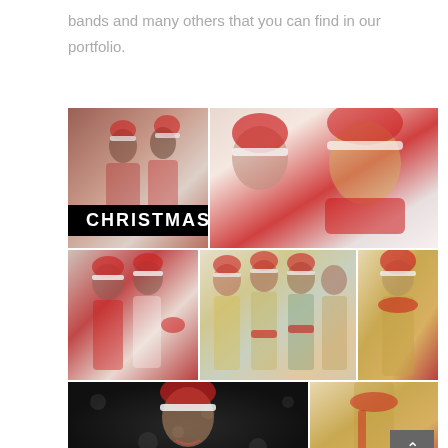bands and many others that you can find in our portfolio.
[Figure (photo): Collage of women in Christmas/Santa outfits. Top left: group of three women in red and white Santa costumes with black label reading CHRISTMAS. Top right: close-up of blonde woman in red Santa hat and scarf. Middle left: two women in red festive outfits. Middle center: group of women in sparkly Christmas dresses with Santa hats. Middle right to bottom right: woman in gold sequin dress with red scarf and Santa hat. Bottom left: woman in Santa hat smiling against dark bokeh background.]